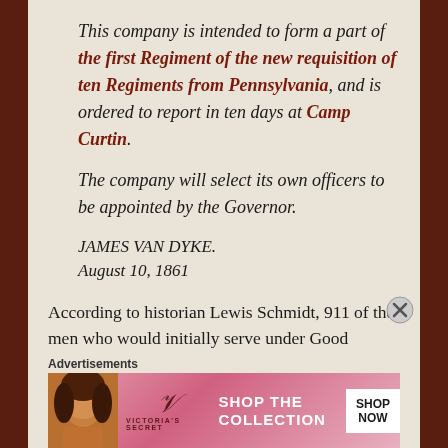This company is intended to form a part of the first Regiment of the new requisition of ten Regiments from Pennsylvania, and is ordered to report in ten days at Camp Curtin.
The company will select its own officers to be appointed by the Governor.
JAMES VAN DYKE.
August 10, 1861
According to historian Lewis Schmidt, 911 of the men who would initially serve under Good
Advertisements
[Figure (photo): Victoria's Secret advertisement banner with model photo, VS logo, 'SHOP THE COLLECTION' text, and 'SHOP NOW' button]